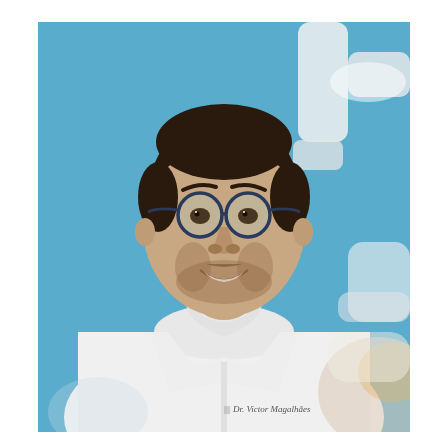[Figure (photo): Professional portrait photo of a young male dentist (Dr. Victor Magalhães) wearing a white lab coat with his name embroidered on it, round dark-framed glasses, and a white surgical mask pulled down below his chin. He is smiling and posing in a dental clinic environment with a blue background and blurred dental equipment (overhead light) visible in the foreground and background.]